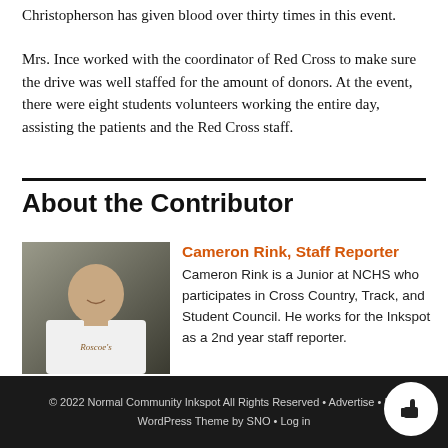Christopherson has given blood over thirty times in this event.
Mrs. Ince worked with the coordinator of Red Cross to make sure the drive was well staffed for the amount of donors. At the event, there were eight students volunteers working the entire day, assisting the patients and the Red Cross staff.
About the Contributor
[Figure (photo): Photo of Cameron Rink, a young man wearing a white t-shirt with 'Roscoe's' printed on it, smiling slightly against a dark background.]
Cameron Rink, Staff Reporter
Cameron Rink is a Junior at NCHS who participates in Cross Country, Track, and Student Council. He works for the Inkspot as a 2nd year staff reporter.
© 2022 Normal Community Inkspot All Rights Reserved • Advertise • F... WordPress Theme by SNO • Log in